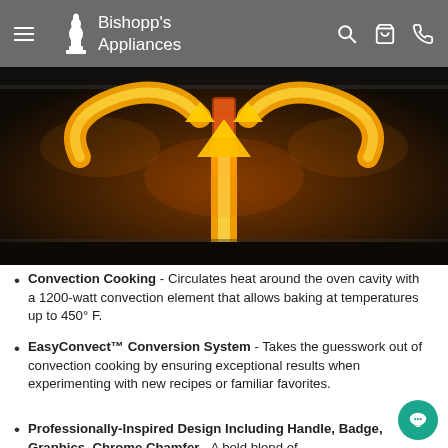Bishopp's Appliances
[Figure (photo): Photograph showing orange glowing convection arrows circulating heat inside an oven cavity, illustrating airflow patterns around heating elements against a dark background.]
Convection Cooking - Circulates heat around the oven cavity with a 1200-watt convection element that allows baking at temperatures up to 450° F.
EasyConvect™ Conversion System - Takes the guesswork out of convection cooking by ensuring exceptional results when experimenting with new recipes or familiar favorites.
Professionally-Inspired Design Including Handle, Badge, Graphics, Chrome Chamfer - A bold blend of